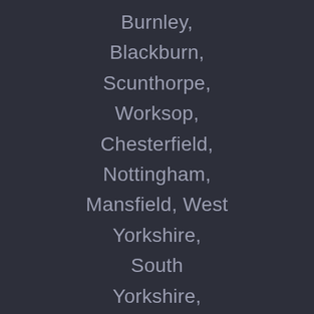Burnley,
Blackburn,
Scunthorpe,
Worksop,
Chesterfield,
Nottingham,
Mansfield, West Yorkshire,
South Yorkshire,
North Yorkshire, East Riding of